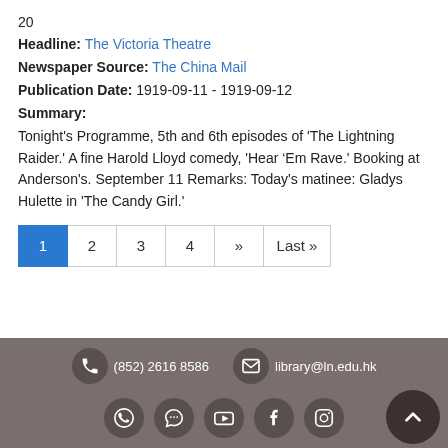20
Headline: The Victoria Theatre
Newspaper Source: The China Mail
Publication Date: 1919-09-11 - 1919-09-12
Summary:
Tonight's Programme, 5th and 6th episodes of 'The Lightning Raider.' A fine Harold Lloyd comedy, 'Hear ‘Em Rave.' Booking at Anderson's. September 11 Remarks: Today's matinee: Gladys Hulette in 'The Candy Girl.'
1 2 3 4 » Last »
(852) 2616 8586  library@ln.edu.hk